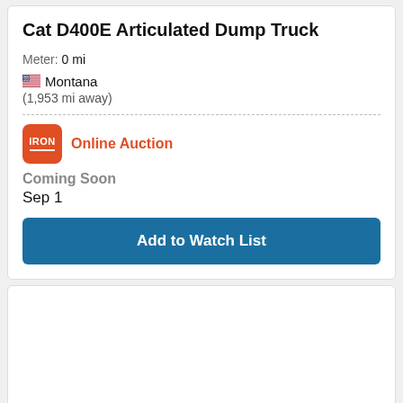Cat D400E Articulated Dump Truck
Meter: 0 mi
Montana (1,953 mi away)
Online Auction
Coming Soon
Sep 1
Add to Watch List
[Figure (photo): Photo of a Cat articulated dump truck (yellow/black) against a blue sky, with a red verified checkmark badge in the top right corner and an RB Assist orange button in the bottom right.]